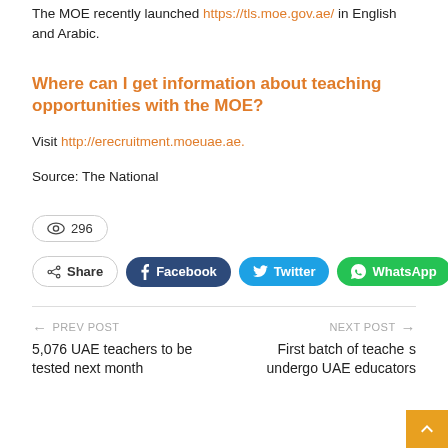The MOE recently launched https://tls.moe.gov.ae/ in English and Arabic.
Where can I get information about teaching opportunities with the MOE?
Visit http://erecruitment.moeuae.ae.
Source: The National
👁 296
Share  Facebook  Twitter  WhatsApp  +
← PREV POST
5,076 UAE teachers to be tested next month
NEXT POST →
First batch of teachers undergo UAE educators...